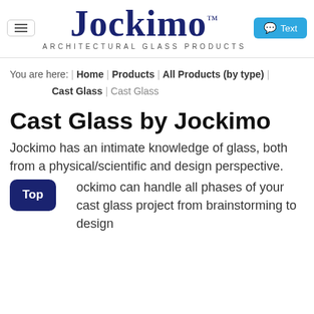Jockimo™ ARCHITECTURAL GLASS PRODUCTS
You are here: | Home | Products | All Products (by type) | Cast Glass | Cast Glass
Cast Glass by Jockimo
Jockimo has an intimate knowledge of glass, both from a physical/scientific and design perspective.
Jockimo can handle all phases of your cast glass project from brainstorming to design